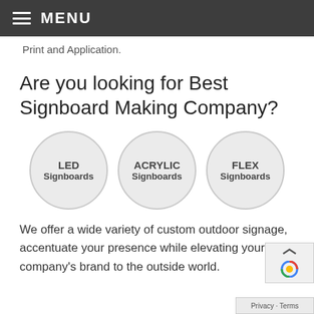MENU
Print and Application.
Are you looking for Best Signboard Making Company?
[Figure (infographic): Three circular badge icons side by side: LED Signboards, ACRYLIC Signboards, FLEX Signboards]
We offer a wide variety of custom outdoor signage, accentuate your presence while elevating your company's brand to the outside world.